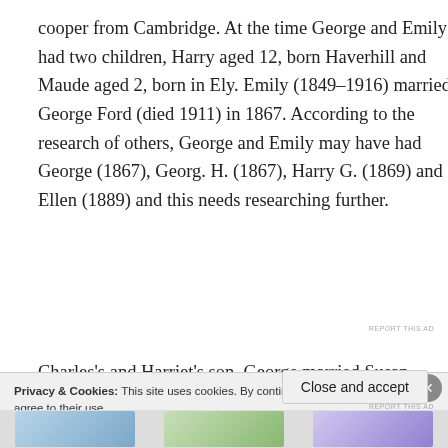cooper from Cambridge. At the time George and Emily had two children, Harry aged 12, born Haverhill and Maude aged 2, born in Ely. Emily (1849–1916) married George Ford (died 1911) in 1867. According to the research of others, George and Emily may have had George (1867), Georg. H. (1867), Harry G. (1869) and Ellen (1889) and this needs researching further.
[Figure (other): Advertisement banner: dark navy background with tree/person icon in white circle, teal text reading 'Turn your blog into a money-making online course.' with right arrow]
Charles's and Harriet's son. George married Susan Argent
Privacy & Cookies: This site uses cookies. By continuing to use this website, you agree to their use.
To find out more, including how to control cookies, see here: Cookie Policy